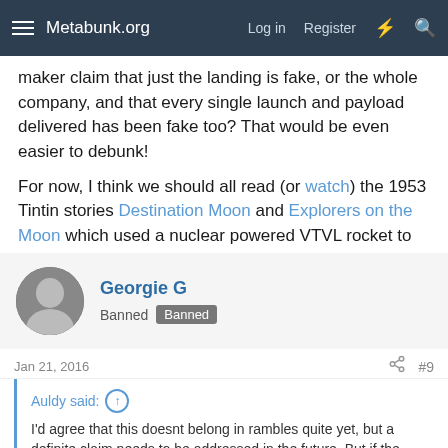Metabunk.org  Log in  Register
maker claim that just the landing is fake, or the whole company, and that every single launch and payload delivered has been fake too? That would be even easier to debunk!

For now, I think we should all read (or watch) the 1953 Tintin stories Destination Moon and Explorers on the Moon which used a nuclear powered VTVL rocket to get to the moon, many years before man actually did 😛
Georgie G
Banned  Banned
Jan 21, 2016  #9
Auldy said: ↑

I'd agree that this doesnt belong in rambles quite yet, but a definite claim needs to be addressed in the future. But if the claim was (as the OP video so eloquently put it) "SpaceX is BullShit", then all the other